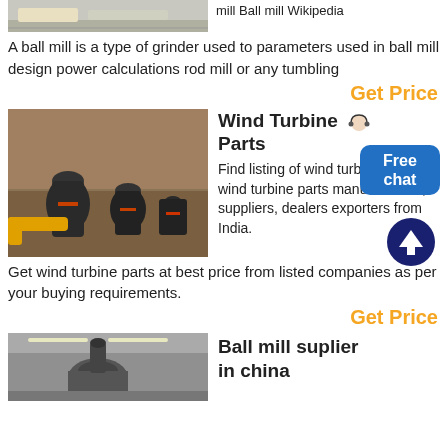[Figure (photo): Partial image of industrial machinery (ball mill) at the top left]
mill Ball mill Wikipedia
A ball mill is a type of grinder used to parameters used in ball mill design power calculations rod mill or any tumbling
Get Price
[Figure (photo): Industrial grinding mills (possibly ball mills or Raymond mills) on a rocky outdoor site with yellow pipe visible]
Wind Turbine Parts
Find listing of wind turbine parts, wind turbine parts manufacturers, suppliers, dealers exporters from India.
Get wind turbine parts at best price from listed companies as per your buying requirements.
Get Price
[Figure (photo): Industrial facility interior showing ball mill equipment with overhead lighting]
Ball mill suplier in china